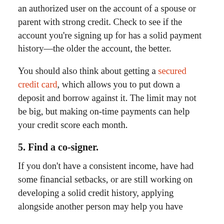an authorized user on the account of a spouse or parent with strong credit. Check to see if the account you're signing up for has a solid payment history—the older the account, the better.
You should also think about getting a secured credit card, which allows you to put down a deposit and borrow against it. The limit may not be big, but making on-time payments can help your credit score each month.
5. Find a co-signer.
If you don't have a consistent income, have had some financial setbacks, or are still working on developing a solid credit history, applying alongside another person may help you have